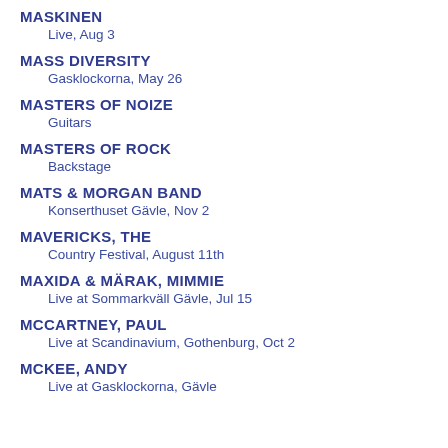MASKINEN
Live, Aug 3
MASS DIVERSITY
Gasklockorna, May 26
MASTERS OF NOIZE
Guitars
MASTERS OF ROCK
Backstage
MATS & MORGAN BAND
Konserthuset Gävle, Nov 2
MAVERICKS, THE
Country Festival, August 11th
MAXIDA & MÄRAK, MIMMIE
Live at Sommarkväll Gävle, Jul 15
MCCARTNEY, PAUL
Live at Scandinavium, Gothenburg, Oct 2
MCKEE, ANDY
Live at Gasklockorna, Gävle